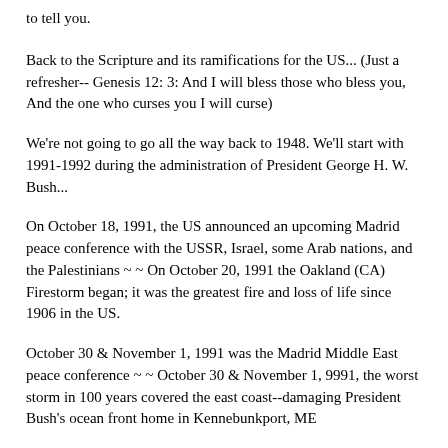to tell you.
Back to the Scripture and its ramifications for the US... (Just a refresher-- Genesis 12: 3: And I will bless those who bless you, And the one who curses you I will curse)
We're not going to go all the way back to 1948. We'll start with 1991-1992 during the administration of President George H. W. Bush...
On October 18, 1991, the US announced an upcoming Madrid peace conference with the USSR, Israel, some Arab nations, and the Palestinians ~ ~ On October 20, 1991 the Oakland (CA) Firestorm began; it was the greatest fire and loss of life since 1906 in the US.
October 30 & November 1, 1991 was the Madrid Middle East peace conference ~ ~ October 30 & November 1, 9991, the worst storm in 100 years covered the east coast--damaging President Bush's ocean front home in Kennebunkport, ME
August 24, 1992, Round 6 of peace talks resume in Washington, DC; Israel came with with autonomy plan for the Palestinians ~ ~ August 23-24, 1992, Hurricane Andrew smashed into southern Florida--it was the worst natural